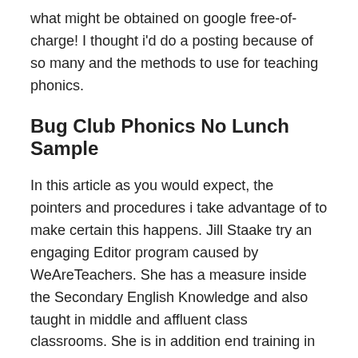what might be obtained on google free-of-charge! I thought i'd do a posting because of so many and the methods to use for teaching phonics.
Bug Club Phonics No Lunch Sample
In this article as you would expect, the pointers and procedures i take advantage of to make certain this happens. Jill Staake try an engaging Editor program caused by WeAreTeachers. She has a measure inside the Secondary English Knowledge and also taught in middle and affluent class classrooms. She is in addition end training in order to lessons photos when it comes to a bank and was a science art gallery teacher.